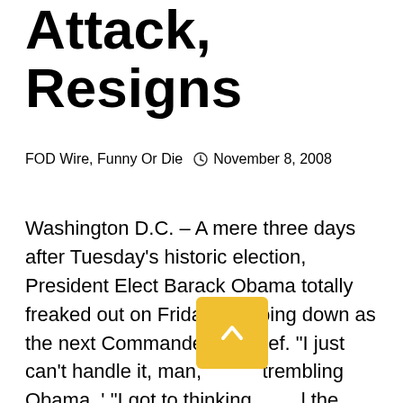Attack, Resigns
FOD Wire, Funny Or Die   November 8, 2008
Washington D.C. – A mere three days after Tuesday's historic election, President Elect Barack Obama totally freaked out on Friday, stepping down as the next Commander-in-Chief. "I just can't handle it, man, [trembling Obama. ' "I got to thinking] [about] the problems this country faces and it freaked me the fuck out." Clutching a stuffed animal, the President Elect wept inconsolably: "I don't know what the fuck to